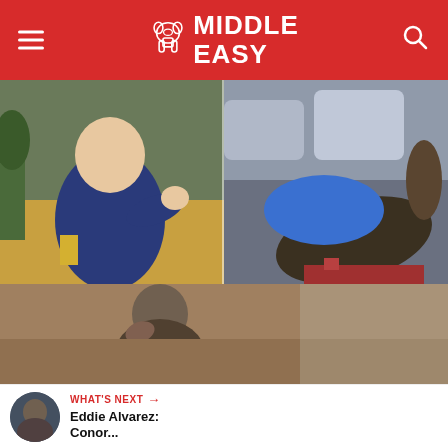Middle Easy
[Figure (photo): Two-photo collage: left shows a toddler in a navy jacket holding something, right shows a tattooed person lying on a couch in blue underwear]
Hasbulla Names His Chicken ‘Conor McGregor’ To Insult The Former UFC Champion
[Figure (photo): Photo of a bearded man (Conor McGregor) with hand near face]
WHAT'S NEXT → Eddie Alvarez: Conor...